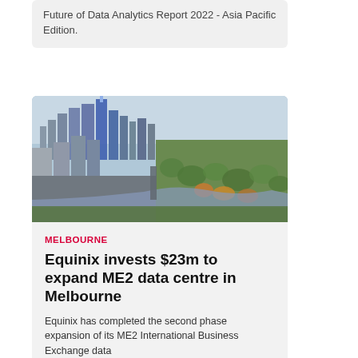Future of Data Analytics Report 2022 - Asia Pacific Edition.
[Figure (photo): Aerial view of Melbourne city skyline with CBD skyscrapers on the left and parklands/river on the right, taken from a high altitude.]
MELBOURNE
Equinix invests $23m to expand ME2 data centre in Melbourne
Equinix has completed the second phase expansion of its ME2 International Business Exchange data